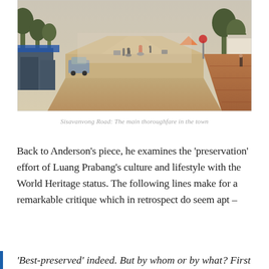[Figure (photo): Street scene of Sisavanvong Road in Luang Prabang showing cyclists and motorbikes on a wide dusty road lined with trees, market stalls on the left, and brick sidewalk on the right.]
Sisavanvong Road: The main thoroughfare in the town
Back to Anderson's piece, he examines the 'preservation' effort of Luang Prabang's culture and lifestyle with the World Heritage status. The following lines make for a remarkable critique which in retrospect do seem apt –
'Best-preserved' indeed. But by whom or by what? First of